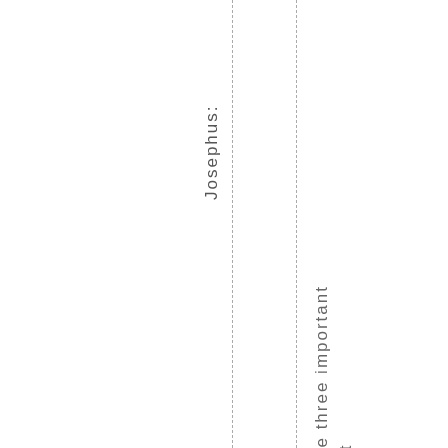Josephus:
Note three important feat